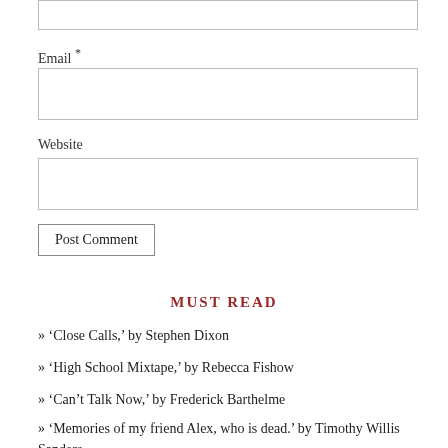[Figure (screenshot): Top portion of a web form showing a partially visible text input box at the top of the page]
Email *
[Figure (screenshot): Email input field (text box)]
Website
[Figure (screenshot): Website input field (text box)]
Post Comment
MUST READ
» ‘Close Calls,’ by Stephen Dixon
» ‘High School Mixtape,’ by Rebecca Fishow
» ‘Can’t Talk Now,’ by Frederick Barthelme
» ‘Memories of my friend Alex, who is dead.’ by Timothy Willis Sanders